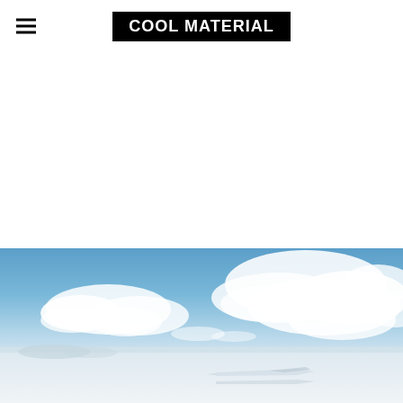COOL MATERIAL
[Figure (photo): Wide panoramic photo of a salt flat under a blue sky with white clouds. In the lower portion, a sleek vehicle or object appears on the flat white surface, partially reflected.]